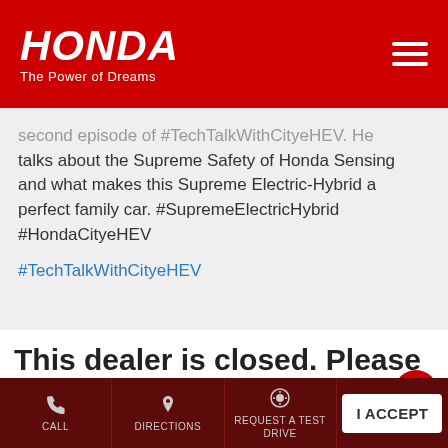HONDA - The Power of Dreams
second episode of #TechTalkWithCityeHEV. He talks about the Supreme Safety of Honda Sensing and what makes this Supreme Electric-Hybrid a perfect family car. #SupremeElectricHybrid #HondaCityeHEV
#TechTalkWithCityeHEV
This dealer is closed. Please visit Store Locator
Cookie Information
Posted On: 18 Jun 2022 1:02 PM
We use cookies to improve your experience on our site and to show the relevant content.
CALL | DIRECTIONS | REQUEST A TEST DRIVE | I ACCEPT